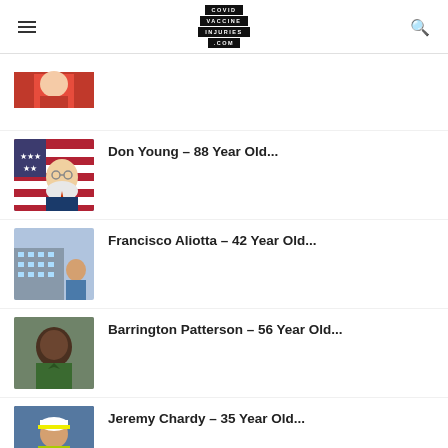COVID VACCINE INJURIES .COM
Don Young – 88 Year Old...
Francisco Aliotta – 42 Year Old...
Barrington Patterson – 56 Year Old...
Jeremy Chardy – 35 Year Old...